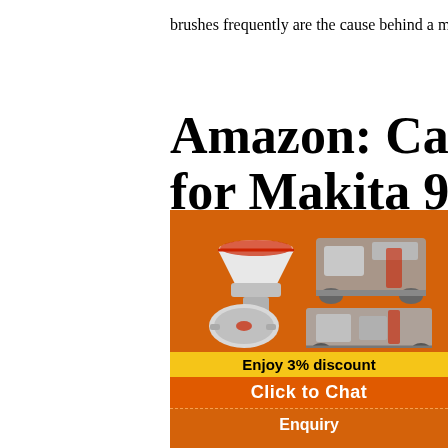brushes frequently are the cause behind a motor running poorly.
Amazon: Carbon Brushes for Makita 9557NB Powerto…
...
Carbon Brushes for Makita 9557PB Powe… With Cable and Connector - Replaces 194074… 325 Carbon Brushes For Makita CB330 CB31… 9563CV 9553NB 9554NB 9555NB Grinder 1617014126/GSH 10 GBH Carbon Brushes Fits Bosch 11316EVS 11317EVS 11311EVS 11223EVS…
MAKITA CARBO… BRUSH SET CB-
[Figure (illustration): Advertisement overlay with orange background showing industrial machinery (crushers, grinders) with text: Enjoy 3% discount, Click to Chat, Enquiry, limingjlmofen@sina.com]